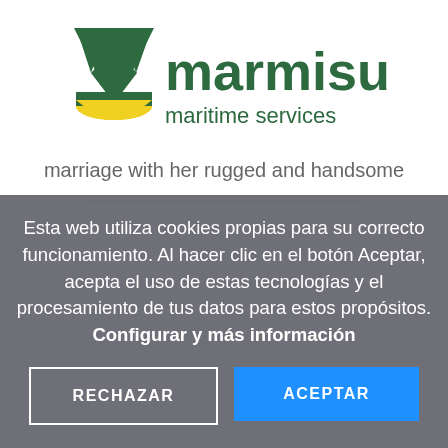[Figure (logo): Marmisur maritime services logo — stylized green M with yellow wave, green text 'marmisur' and smaller green 'maritime services']
marriage with her rugged and handsome
Esta web utiliza cookies propias para su correcto funcionamiento. Al hacer clic en el botón Aceptar, acepta el uso de estas tecnologías y el procesamiento de tus datos para estos propósitos. Configurar y más información
RECHAZAR
ACEPTAR